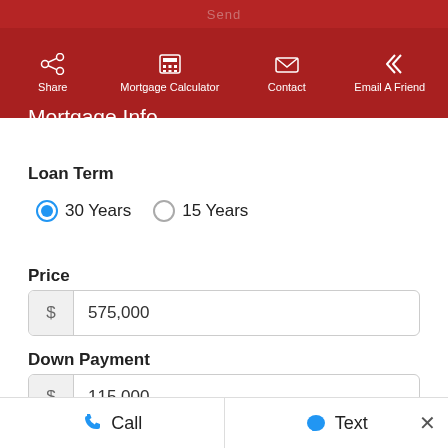Send | Share | Mortgage Calculator | Contact | Email A Friend
Mortgage Info
Loan Term
30 Years   15 Years
Price
$ 575,000
Down Payment
$ 115,000
Interest Rate
Call   Text   ×